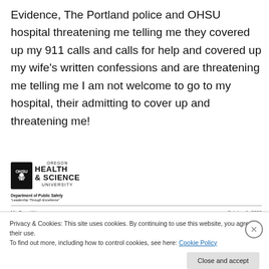Evidence, The Portland police and OHSU hospital threatening me telling me they covered up my 911 calls and calls for help and covered up my wife's written confessions and are threatening me telling me I am not welcome to go to my hospital, their admitting to cover up and threatening me!
[Figure (logo): Oregon Health & Science University logo with Department of Public Safety text and 'Leadership Through Excellence' slogan]
Mr. Terry Waner    October 1, 2008
Privacy & Cookies: This site uses cookies. By continuing to use this website, you agree to their use.
To find out more, including how to control cookies, see here: Cookie Policy
Close and accept